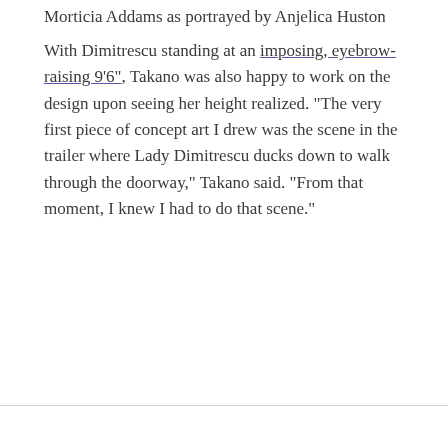Morticia Addams as portrayed by Anjelica Huston
With Dimitrescu standing at an imposing, eyebrow-raising 9'6", Takano was also happy to work on the design upon seeing her height realized. "The very first piece of concept art I drew was the scene in the trailer where Lady Dimitrescu ducks down to walk through the doorway," Takano said. "From that moment, I knew I had to do that scene."